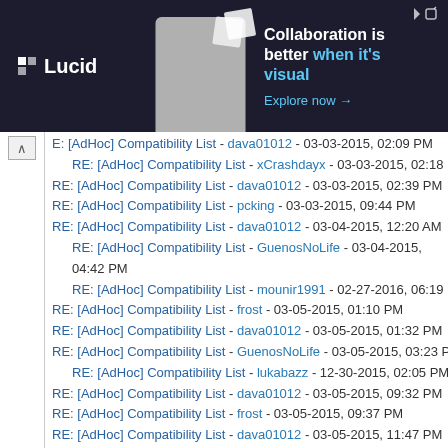[Figure (photo): Lucid advertisement banner: dark background with logo, person image, and text 'Collaboration is better when it's visual. Explore now →']
E: [AdHoc] Compatibility List - dava01012 - 03-03-2015, 02:09 PM
RE: [AdHoc] Compatibility List - xCrashdayx - 03-03-2015, 02:18 PM
RE: [AdHoc] Compatibility List - dava01012 - 03-03-2015, 02:39 PM
RE: [AdHoc] Compatibility List - pcking - 03-03-2015, 09:44 PM
RE: [AdHoc] Compatibility List - dava01012 - 03-04-2015, 12:20 AM
RE: [AdHoc] Compatibility List - GuenosNoLife - 03-04-2015, 04:42 PM
RE: [AdHoc] Compatibility List - mounir1991 - 02-27-2016, 06:19 PM
RE: [AdHoc] Compatibility List - frost - 03-05-2015, 01:10 PM
RE: [AdHoc] Compatibility List - dava01012 - 03-05-2015, 01:32 PM
RE: [AdHoc] Compatibility List - GuenosNoLife - 03-05-2015, 03:23 PM
RE: [AdHoc] Compatibility List - lukabazz - 12-30-2015, 02:05 PM
RE: [AdHoc] Compatibility List - dava01012 - 03-05-2015, 09:32 PM
RE: [AdHoc] Compatibility List - frost - 03-05-2015, 09:37 PM
RE: [AdHoc] Compatibility List - dava01012 - 03-05-2015, 11:47 PM
RE: [AdHoc] Compatibility List - frost - 03-06-2015, 12:26 AM
RE: [AdHoc] Compatibility List - dava01012 - 03-06-2015, 03:19 AM
RE: [AdHoc] Compatibility List - frost - 03-06-2015, 04:54 AM
RE: [AdHoc] Compatibility List - dava01012 - 03-06-2015, 04:56 AM
RE: [AdHoc] Compatibility List - nheem3 - 03-07-2015, 12:29 AM
RE: [AdHoc] Compatibility List - frost - 03-07-2015, 05:45 AM